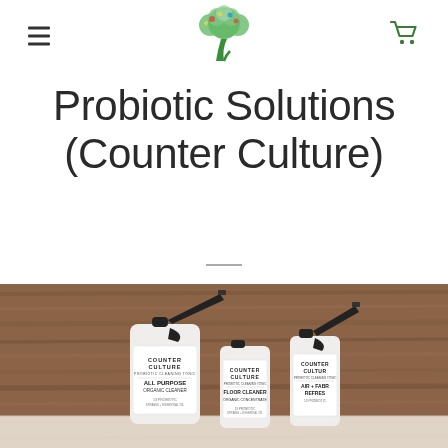Navigation header with hamburger menu, tree logo, and cart icon
Probiotic Solutions (Counter Culture)
[Figure (photo): Three Counter Culture probiotic cleaning product bottles (spray bottle labeled All Purpose Organic Cleaner, small bottle labeled Floor Cleaner Organic Concentrate, and small spray bottle labeled Air + Fabric Refresh) displayed on a wooden background surface.]